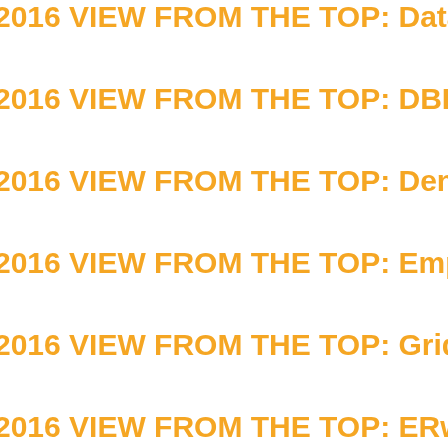2016 VIEW FROM THE TOP: Data...
2016 VIEW FROM THE TOP: DBI S...
2016 VIEW FROM THE TOP: Dend...
2016 VIEW FROM THE TOP: Empl...
2016 VIEW FROM THE TOP: GridC...
2016 VIEW FROM THE TOP: ERwi...
2016 VIEW FROM THE TOP: Idera...
2016 VIEW FROM THE TOP: Kore...
2016 VIEW FROM THE TOP: Ntire...
2016 VIEW FROM THE TOP: Pyth...
2016 VIEW FROM THE TOP: RedP...
2016 VIEW FROM THE TOP: Relti...